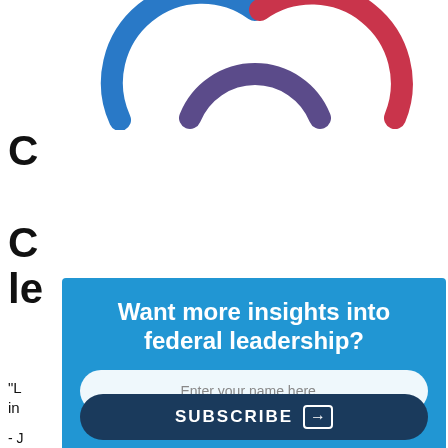[Figure (logo): Partial logo showing three overlapping arc shapes in blue, dark blue/purple, and red, resembling a circular icon — cropped at top]
C
C le
“L in
- J
Want more insights into federal leadership?
Enter your name here...
Enter your email address here...
SUBSCRIBE
PU A